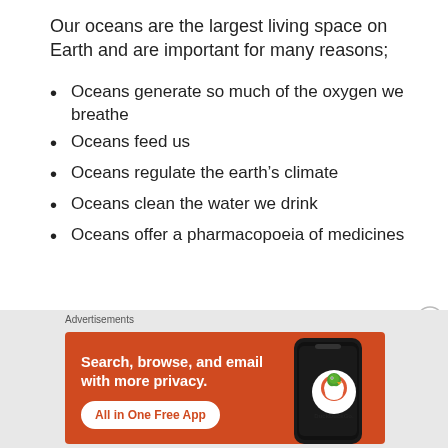Our oceans are the largest living space on Earth and are important for many reasons;
Oceans generate so much of the oxygen we breathe
Oceans feed us
Oceans regulate the earth's climate
Oceans clean the water we drink
Oceans offer a pharmacopoeia of medicines
Advertisements
[Figure (other): DuckDuckGo advertisement banner with orange background showing 'Search, browse, and email with more privacy. All in One Free App' with a phone graphic and DuckDuckGo logo]